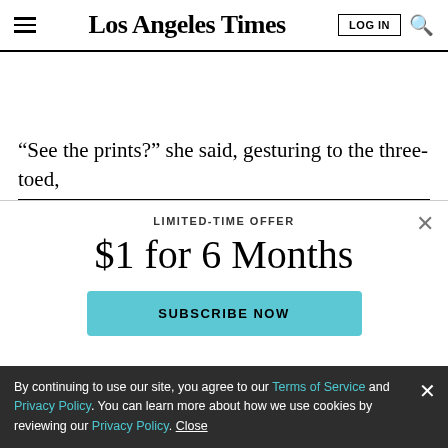Los Angeles Times
“See the prints?” she said, gesturing to the three-toed,
LIMITED-TIME OFFER
$1 for 6 Months
SUBSCRIBE NOW
By continuing to use our site, you agree to our Terms of Service and Privacy Policy. You can learn more about how we use cookies by reviewing our Privacy Policy. Close